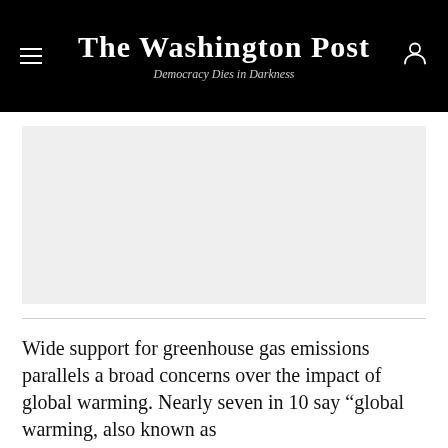The Washington Post
Democracy Dies in Darkness
[Figure (photo): Large rectangular image placeholder with light gray background]
Wide support for greenhouse gas emissions parallels a broad concerns over the impact of global warming. Nearly seven in 10 say "global warming, also known as